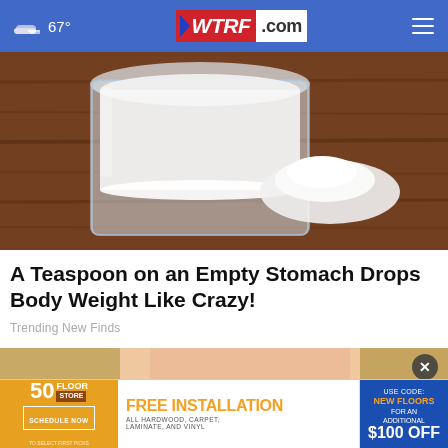67° WTRF.com
[Figure (photo): A glass jar filled with white powder next to a pile of white powder on a wooden surface]
A Teaspoon on an Empty Stomach Drops Body Weight Like Crazy!
Trending New Finds
[Figure (photo): Close-up of a person's face with blonde hair and glasses]
[Figure (infographic): 50 Floor advertisement banner: FREE INSTALLATION, All Hardwood, Carpet, Laminate, and Vinyl. Use Code: NEW FLOORS FOR AN ADDITIONAL $100 OFF. Schedule Now.]